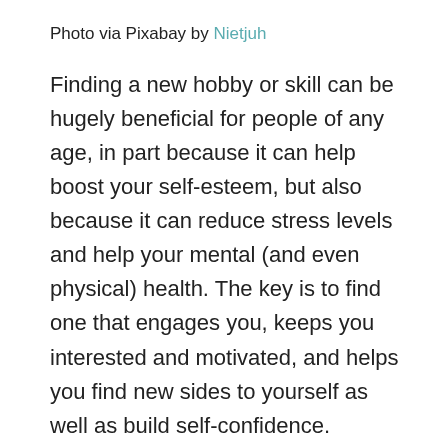Photo via Pixabay by Nietjuh
Finding a new hobby or skill can be hugely beneficial for people of any age, in part because it can help boost your self-esteem, but also because it can reduce stress levels and help your mental (and even physical) health. The key is to find one that engages you, keeps you interested and motivated, and helps you find new sides to yourself as well as build self-confidence.
Keep reading for some tips from No Ordinary Liz on how to find the right hobby for you and how it can help.